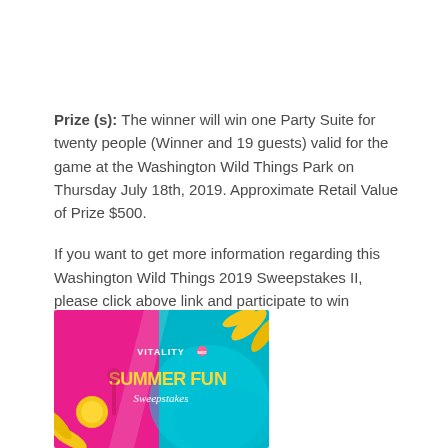Prize (s): The winner will win one Party Suite for twenty people (Winner and 19 guests) valid for the game at the Washington Wild Things Park on Thursday July 18th, 2019. Approximate Retail Value of Prize $500.
If you want to get more information regarding this Washington Wild Things 2019 Sweepstakes II, please click above link and participate to win amazing prize.
[Figure (illustration): Colorful promotional banner image showing a pink and teal summer-themed graphic with the text 'VITALITY' logo, 'SUMMER FUN Sweepstakes' in bold yellow letters on a tropical background.]